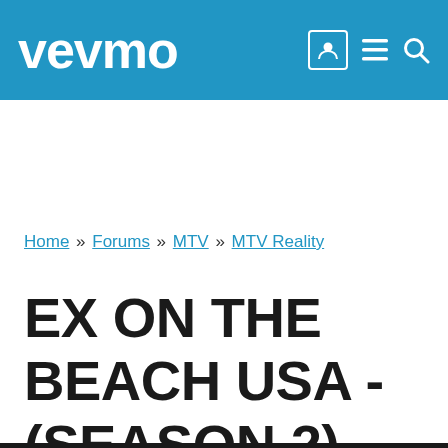vevmo
Home » Forums » MTV » MTV Reality
EX ON THE BEACH USA - (SEASON 2)